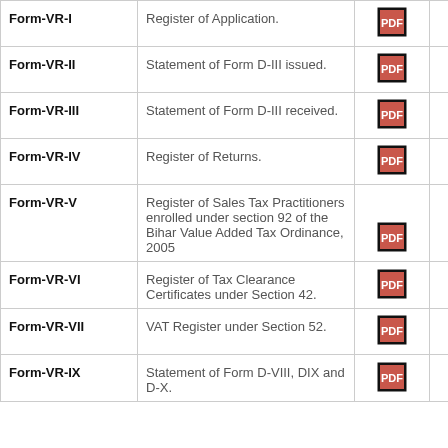| Form | Description | PDF |  |  |
| --- | --- | --- | --- | --- |
| Form-VR-I | Register of Application. | [pdf] |  |  |
| Form-VR-II | Statement of Form D-III issued. | [pdf] |  |  |
| Form-VR-III | Statement of Form D-III received. | [pdf] |  |  |
| Form-VR-IV | Register of Returns. | [pdf] |  |  |
| Form-VR-V | Register of Sales Tax Practitioners enrolled under section 92 of the Bihar Value Added Tax Ordinance, 2005 | [pdf] |  |  |
| Form-VR-VI | Register of Tax Clearance Certificates under Section 42. | [pdf] |  |  |
| Form-VR-VII | VAT Register under Section 52. | [pdf] |  |  |
| Form-VR-IX | Statement of Form D-VIII, DIX and D-X. | [pdf] |  |  |